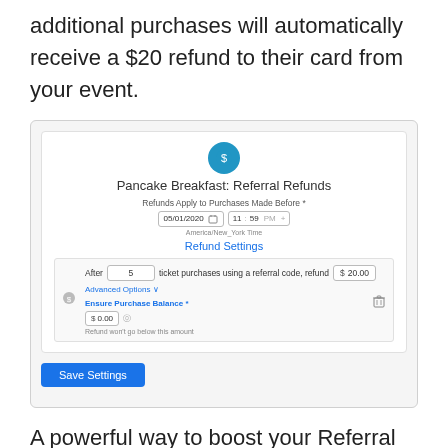additional purchases will automatically receive a $20 refund to their card from your event.
[Figure (screenshot): Screenshot of a Pancake Breakfast: Referral Refunds settings panel showing date 05/01/2020, time 11:59 PM, refund settings with 'After 5 ticket purchases using a referral code, refund $20.00', Advanced Options, Ensure Purchase Balance $0.00, and a Save Settings button.]
A powerful way to boost your Referral Rewards program is to keep your top referrers incentivized to continue referring friends and family even after they